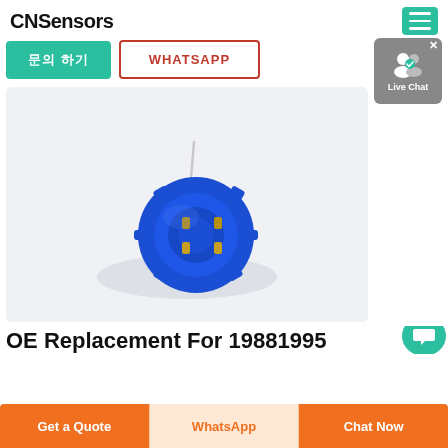CNSensors
[Figure (photo): Blue circular sensor module with gold pins and antenna wire on white background]
OE Replacement For 19881995
Get a Quote | WhatsApp | Chat Now